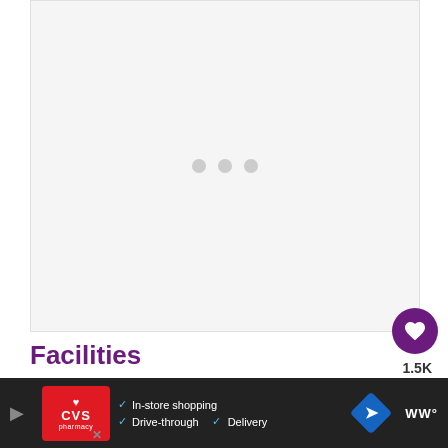[Figure (photo): Light gray image placeholder with three gray dots in the center, representing a loading or empty image area]
Facilities
Sheep stay pretty warm through the winter months
[Figure (other): CVS Pharmacy advertisement banner showing In-store shopping, Drive-through, and Delivery options with navigation icon]